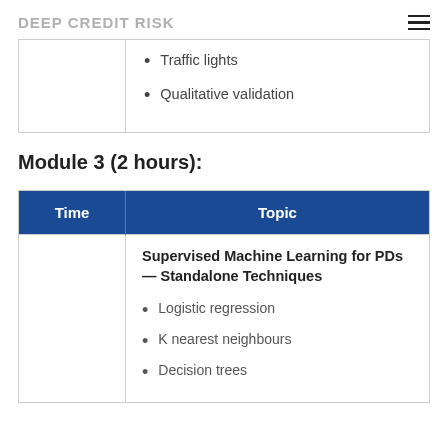DEEP CREDIT RISK
| Time | Topic |
| --- | --- |
|  | Traffic lights
Qualitative validation |
Module 3 (2 hours):
| Time | Topic |
| --- | --- |
|  | Supervised Machine Learning for PDs — Standalone Techniques
• Logistic regression
• K nearest neighbours
• Decision trees |